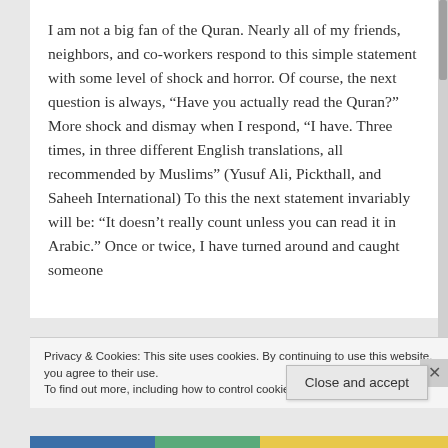I am not a big fan of the Quran. Nearly all of my friends, neighbors, and co-workers respond to this simple statement with some level of shock and horror. Of course, the next question is always, “Have you actually read the Quran?” More shock and dismay when I respond, “I have. Three times, in three different English translations, all recommended by Muslims” (Yusuf Ali, Pickthall, and Saheeh International) To this the next statement invariably will be: “It doesn’t really count unless you can read it in Arabic.” Once or twice, I have turned around and caught someone
Privacy & Cookies: This site uses cookies. By continuing to use this website, you agree to their use.
To find out more, including how to control cookies, see here: Cookie Policy
Close and accept